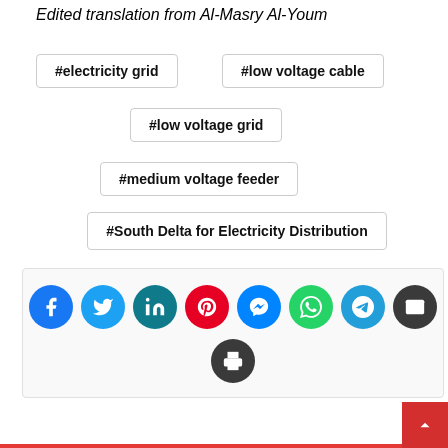Edited translation from Al-Masry Al-Youm
#electricity grid
#low voltage cable
#low voltage grid
#medium voltage feeder
#South Delta for Electricity Distribution
[Figure (infographic): Social share buttons: Facebook (blue), Twitter (cyan), LinkedIn (teal), Pinterest (red), Messenger (blue), WhatsApp (green), Telegram (teal), Email (dark), Print (dark gray)]